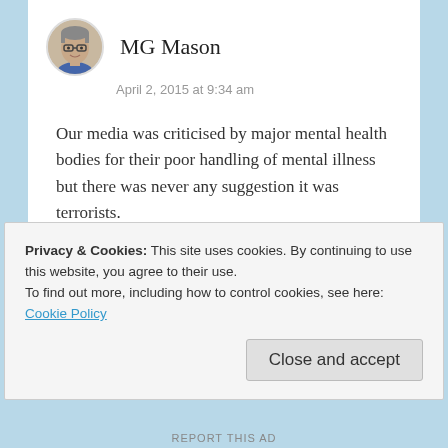[Figure (photo): Circular avatar photo of MG Mason, a person with glasses]
MG Mason
April 2, 2015 at 9:34 am
Our media was criticised by major mental health bodies for their poor handling of mental illness but there was never any suggestion it was terrorists.
Just stupid.
★ Liked by 1 person
Reply
Privacy & Cookies: This site uses cookies. By continuing to use this website, you agree to their use.
To find out more, including how to control cookies, see here: Cookie Policy
Close and accept